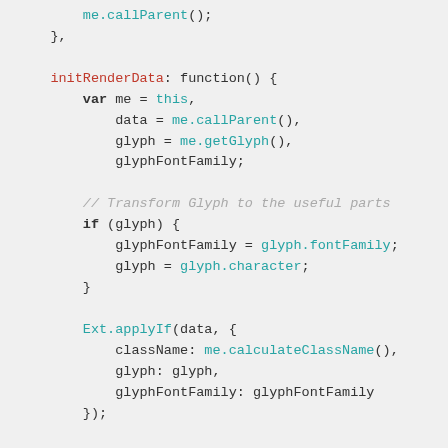JavaScript source code snippet showing initRenderData function